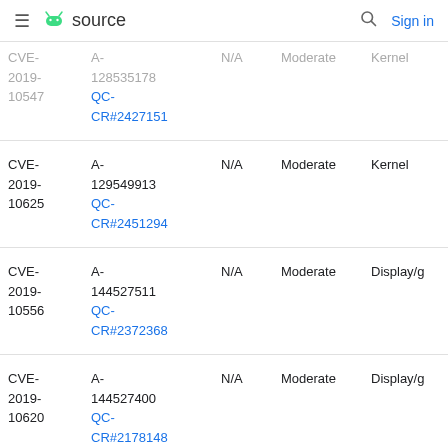≡ android source  🔍 Sign in
| CVE | References | Type | Severity | Component |
| --- | --- | --- | --- | --- |
| CVE-2019-10547 | A-128535178
QC-CR#2427151 | N/A | Moderate | Kernel |
| CVE-2019-10625 | A-129549913
QC-CR#2451294 | N/A | Moderate | Kernel |
| CVE-2019-10556 | A-144527511
QC-CR#2372368 | N/A | Moderate | Display/g |
| CVE-2019-10620 | A-144527400
QC-CR#2178148 | N/A | Moderate | Display/g |